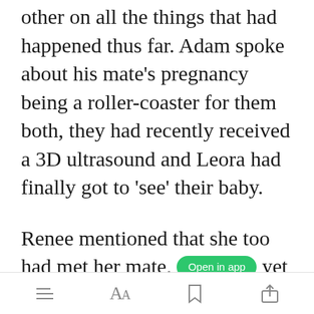other on all the things that had happened thus far. Adam spoke about his mate's pregnancy being a roller-coaster for them both, they had recently received a 3D ultrasound and Leora had finally got to ‘see’ their baby.
Renee mentioned that she too had met her mate, but she wasn’t sure yet how things would play out. She
[Figure (other): Green 'Open in app' button overlay on the text]
toolbar with list icon, Aa font icon, bookmark icon, share icon